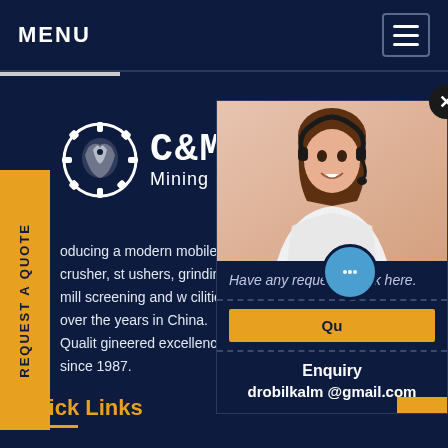MENU
[Figure (screenshot): C&M Mining Machinery website screenshot showing navigation bar, logo, body text, quick links, and chat widget with customer service representative photo]
REQUEST A QUOTE
[Figure (logo): C&M Mining Machinery logo with circular gear/eagle emblem]
oducing a modern mobile crusher, st ushers, grinding mill screening and w cilities over the years in China. Qualit gineered excellence since 1987.
Have any requests, click here.
Qu
Enquiry
drobilkalm @gmail.com
Quick Links